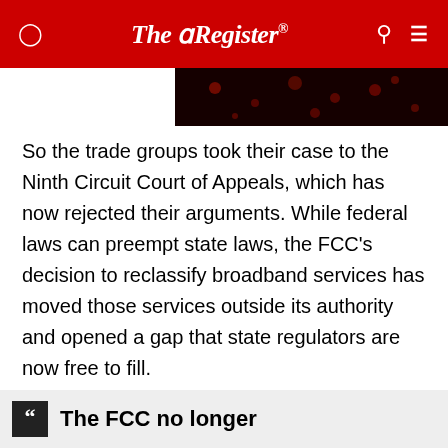The Register
[Figure (photo): Dark red/black bokeh background image, partial hero image visible at top]
So the trade groups took their case to the Ninth Circuit Court of Appeals, which has now rejected their arguments. While federal laws can preempt state laws, the FCC's decision to reclassify broadband services has moved those services outside its authority and opened a gap that state regulators are now free to fill.
"We conclude the district court correctly denied the preliminary injunction," the appellate ruling [PDF] says. "This is because only the invocation of federal regulatory authority can preempt state regulatory authority.
The FCC no longer